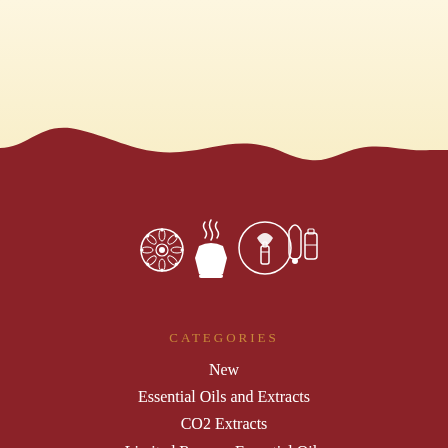[Figure (illustration): Decorative wave background with cream top section and dark red/maroon bottom section, with four white icons: mandala/flower, aromatherapy diffuser with steam, essential oil bottle with leaf in circle, and dropper with bottles]
CATEGORIES
New
Essential Oils and Extracts
CO2 Extracts
Limited Reserve Essential Oils
Hydrosols and Waters
Blends
Aromatherapy Patches